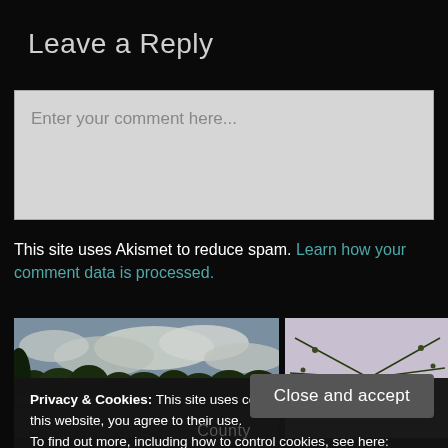Leave a Reply
Enter your comment here...
This site uses Akismet to reduce spam. Learn how your comment data is processed.
[Figure (photo): Outdoor landscape with trees and cloudy sky]
[Figure (photo): Close-up of an insect leg or spider on a light background]
Privacy & Cookies: This site uses cookies. By continuing to use this website, you agree to their use.
To find out more, including how to control cookies, see here: Cookie Policy
Close and accept
County